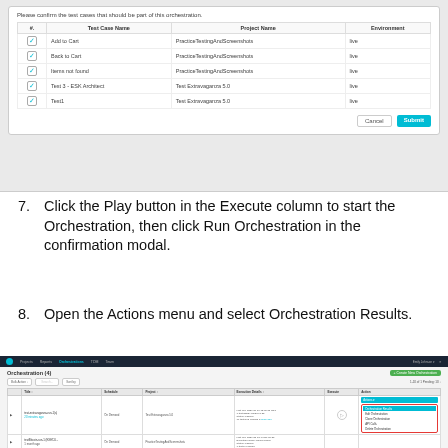[Figure (screenshot): Modal dialog titled 'Please confirm the test cases that should be part of this orchestration.' with a table showing test cases (Add to Cart, Back to Cart, Items not found, Test 3 - ESK Architect, Test1) with checkboxes, Project Name (PracticeTestingAndScreenshots, Test Extravaganza 5.0), Environment (live), and Cancel/Submit buttons.]
7. Click the Play button in the Execute column to start the Orchestration, then click Run Orchestration in the confirmation modal.
8. Open the Actions menu and select Orchestration Results.
[Figure (screenshot): Application screenshot showing Orchestration list page with navigation bar, Orchestration (4) header, Create New Orchestration button, table with columns Title, Schedule, Project, Execution Details, Execute, Action. Actions dropdown shown with 'Orchestration Results' option highlighted, along with Edit Orchestration, Clone Orchestration, API Calls, Delete Orchestration options.]